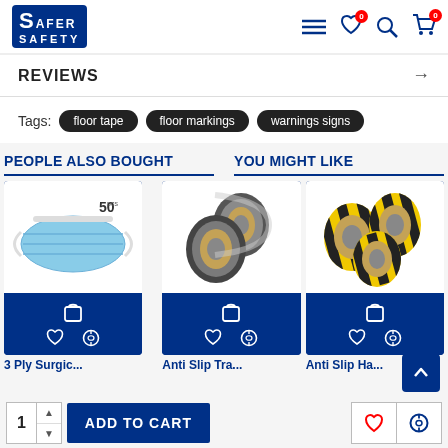[Figure (logo): Safer Safety logo — white text on blue rectangle]
REVIEWS
Tags: floor tape  floor markings  warnings signs
PEOPLE ALSO BOUGHT
YOU MIGHT LIKE
[Figure (photo): 3 Ply Surgical face mask, blue, 50 pack]
3 Ply Surgic...
[Figure (photo): Anti Slip Tape rolls, black]
Anti Slip Tra...
[Figure (photo): Anti Slip Tape rolls, yellow and black striped]
Anti Slip Ha...